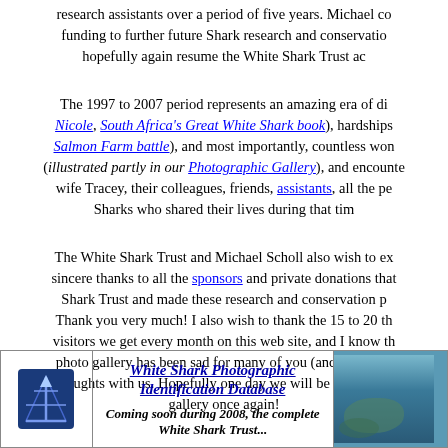research assistants over a period of five years. Michael co funding to further future Shark research and conservation hopefully again resume the White Shark Trust ac
The 1997 to 2007 period represents an amazing era of di Nicole, South Africa's Great White Shark book), hardships Salmon Farm battle), and most importantly, countless won (illustrated partly in our Photographic Gallery), and encountere wife Tracey, their colleagues, friends, assistants, all the pe Sharks who shared their lives during that tim
The White Shark Trust and Michael Scholl also wish to ex sincere thanks to all the sponsors and private donations tha Shark Trust and made these research and conservation p Thank you very much! I also wish to thank the 15 to 20 th visitors we get every month on this web site, and I know th photo gallery has been sad for many of you (and for us) w thoughts with us. Hopefully one day we will be able to res gallery once again!
| Logo | White Shark Photographic Identification Database | Photo |
| --- | --- | --- |
| [logo] | White Shark Photographic Identification Database
Coming soon during 2008, the complete White Shark Trust... | [photo] |